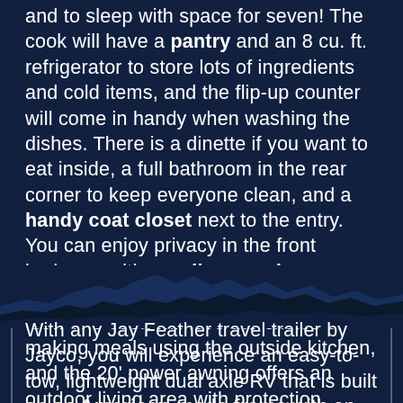and to sleep with space for seven! The cook will have a pantry and an 8 cu. ft. refrigerator to store lots of ingredients and cold items, and the flip-up counter will come in handy when washing the dishes. There is a dinette if you want to eat inside, a full bathroom in the rear corner to keep everyone clean, and a handy coat closet next to the entry. You can enjoy privacy in the front bedroom with a walk-around queen bed, and the double size bunks sleeps four. The cook will love the choice of making meals using the outside kitchen, and the 20' power awning offers an outdoor living area with protection.
[Figure (illustration): Mountain silhouette divider between two text sections, dark blue tones]
With any Jay Feather travel trailer by Jayco, you will experience an easy-to-tow, lightweight dual axle RV that is built on an American-made frame with an aerodynamic, rounded front profile with a diamond plate to protect against